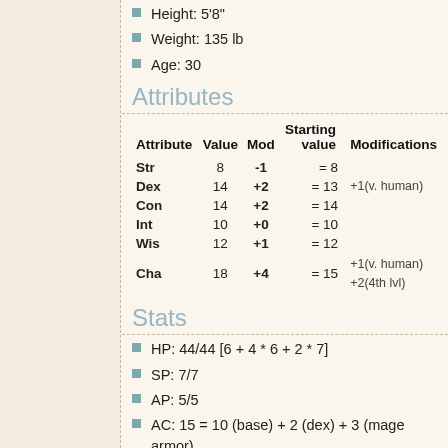Height: 5'8"
Weight: 135 lb
Age: 30
Attributes
| Attribute | Value | Mod | Starting value | Modifications |
| --- | --- | --- | --- | --- |
| Str | 8 | -1 | = 8 |  |
| Dex | 14 | +2 | = 13 | +1(v. human) |
| Con | 14 | +2 | = 14 |  |
| Int | 10 | +0 | = 10 |  |
| Wis | 12 | +1 | = 12 |  |
| Cha | 18 | +4 | = 15 | +1(v. human)
+2(4th lvl) |
Stats
HP: 44/44 [6 + 4 * 6 + 2 * 7]
SP: 7/7
AP: 5/5
AC: 15 = 10 (base) + 2 (dex) + 3 (mage armor)